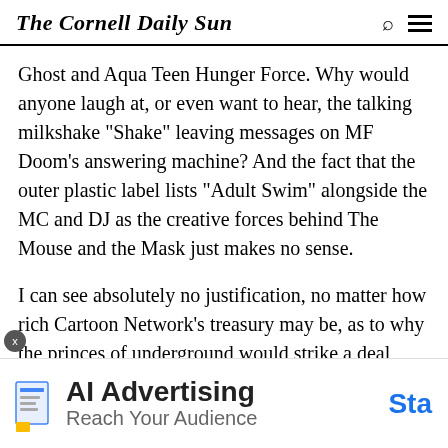The Cornell Daily Sun
Ghost and Aqua Teen Hunger Force. Why would anyone laugh at, or even want to hear, the talking milkshake “Shake” leaving messages on MF Doom’s answering machine? And the fact that the outer plastic label lists “Adult Swim” alongside the MC and DJ as the creative forces behind The Mouse and the Mask just makes no sense.
I can see absolutely no justification, no matter how rich Cartoon Network’s treasury may be, as to why the princes of underground would strike a deal with any company. Every bleep or weak segue can be blamed squarely on the advertising. I hate to say it, but the
[Figure (other): Advertisement banner: AI Advertising - Reach Your Audience, with a Start button in blue]